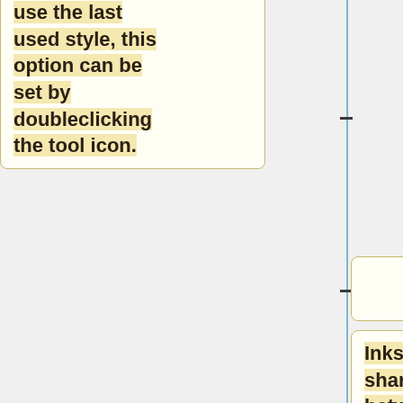use the last used style, this option can be set by doubleclicking the tool icon.
Inkscape shares settings between documents, so if several documents are open the tool options reflect the settings of the object which was last selected or manipulated, no matter which document that